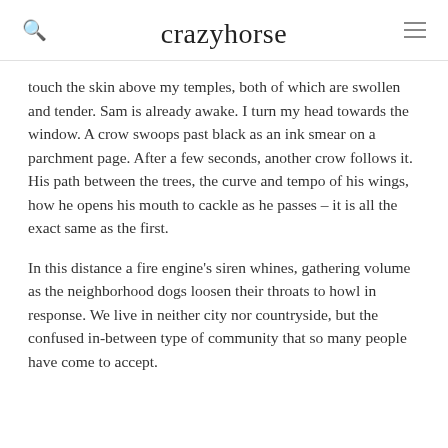crazyhorse
touch the skin above my temples, both of which are swollen and tender. Sam is already awake. I turn my head towards the window. A crow swoops past black as an ink smear on a parchment page. After a few seconds, another crow follows it. His path between the trees, the curve and tempo of his wings, how he opens his mouth to cackle as he passes – it is all the exact same as the first.
In this distance a fire engine's siren whines, gathering volume as the neighborhood dogs loosen their throats to howl in response. We live in neither city nor countryside, but the confused in-between type of community that so many people have come to accept.